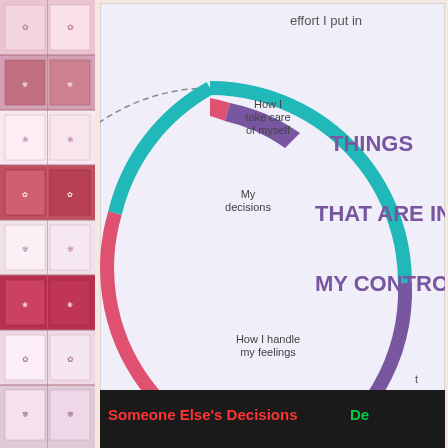[Figure (infographic): Educational infographic showing a circle diagram about things in and out of personal control. The circle contains labels: 'How I take care of myself', 'My decisions', 'How I handle my feelings' inside. Outside labels include 'THINGS THAT ARE IN MY CONTROL' and 'THINGS THAT ARE OUT OF MY CONTROL', 'What other people do', 'What other people say', 'Whether or not I follow rules', with a colorful teal/purple/pink circle border.]
[Figure (screenshot): Dark background panel showing text 'Someone Else's Decisions' in red and green/teal text partially visible, likely from another educational graphic.]